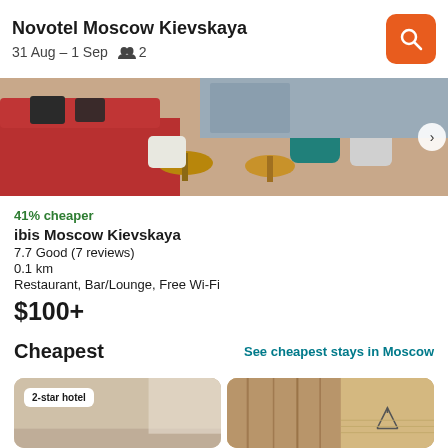Novotel Moscow Kievskaya
31 Aug – 1 Sep  👥 2
[Figure (photo): Hotel lobby interior with red sofas, wooden tables, and colorful chairs]
41% cheaper
ibis Moscow Kievskaya
7.7 Good (7 reviews)
0.1 km
Restaurant, Bar/Lounge, Free Wi-Fi
$100+
Cheapest
See cheapest stays in Moscow
[Figure (photo): Two hotel room photos side by side; left shows a beige room with 2-star hotel badge; right shows curtains and a clothes hanger]